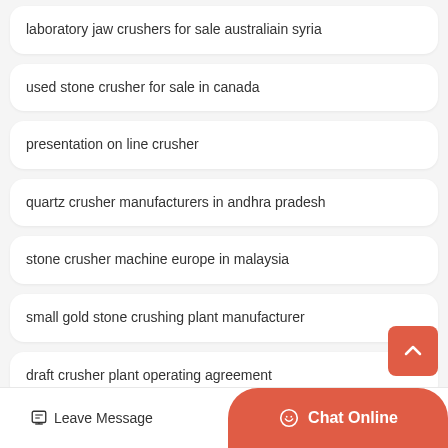laboratory jaw crushers for sale australiain syria
used stone crusher for sale in canada
presentation on line crusher
quartz crusher manufacturers in andhra pradesh
stone crusher machine europe in malaysia
small gold stone crushing plant manufacturer
draft crusher plant operating agreement
Leave Message
Chat Online